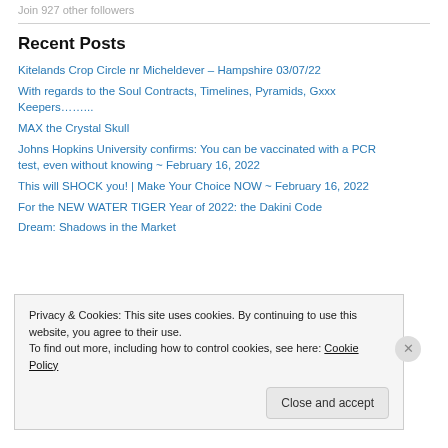Join 927 other followers
Recent Posts
Kitelands Crop Circle nr Micheldever – Hampshire 03/07/22
With regards to the Soul Contracts, Timelines, Pyramids, Gxxx Keepers……..
MAX the Crystal Skull
Johns Hopkins University confirms: You can be vaccinated with a PCR test, even without knowing ~ February 16, 2022
This will SHOCK you! | Make Your Choice NOW ~ February 16, 2022
For the NEW WATER TIGER Year of 2022: the Dakini Code
Dream: Shadows in the Market
Privacy & Cookies: This site uses cookies. By continuing to use this website, you agree to their use. To find out more, including how to control cookies, see here: Cookie Policy